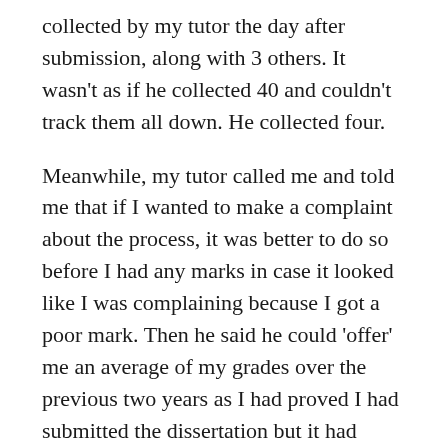collected by my tutor the day after submission, along with 3 others. It wasn't as if he collected 40 and couldn't track them all down. He collected four.
Meanwhile, my tutor called me and told me that if I wanted to make a complaint about the process, it was better to do so before I had any marks in case it looked like I was complaining because I got a poor mark. Then he said he could 'offer' me an average of my grades over the previous two years as I had proved I had submitted the dissertation but it had never been found. I said no. I regretted that later – but felt it was a matter of principle. Sigh.